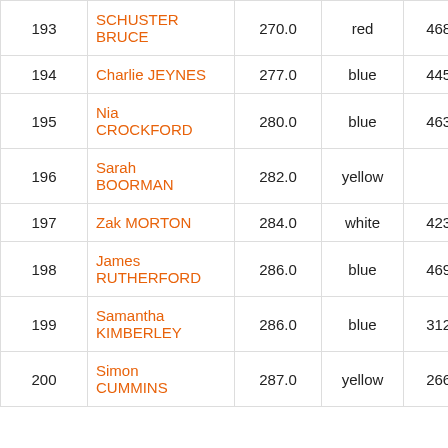| # | Name | Score | Colour | ID | Pts |
| --- | --- | --- | --- | --- | --- |
| 193 | SCHUSTER BRUCE | 270.0 | red | 46870 | 171 |
| 194 | Charlie JEYNES | 277.0 | blue | 44523 | 371 |
| 195 | Nia CROCKFORD | 280.0 | blue | 46300 | 681 |
| 196 | Sarah BOORMAN | 282.0 | yellow |  | 187 |
| 197 | Zak MORTON | 284.0 | white | 42307 | 215 |
| 198 | James RUTHERFORD | 286.0 | blue | 46979 | 590 |
| 199 | Samantha KIMBERLEY | 286.0 | blue | 31223 | 352 |
| 200 | Simon CUMMINS | 287.0 | yellow | 26620 | 95 |